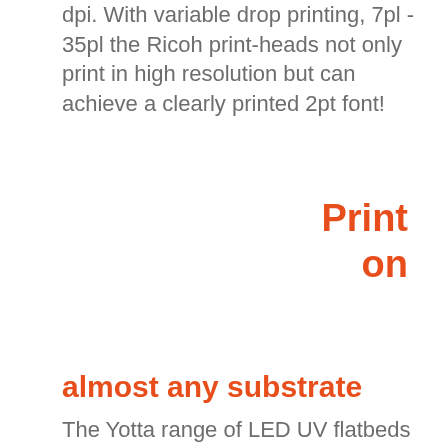dpi. With variable drop printing, 7pl - 35pl the Ricoh print-heads not only print in high resolution but can achieve a clearly printed 2pt font!
Print on
almost any substrate
The Yotta range of LED UV flatbeds